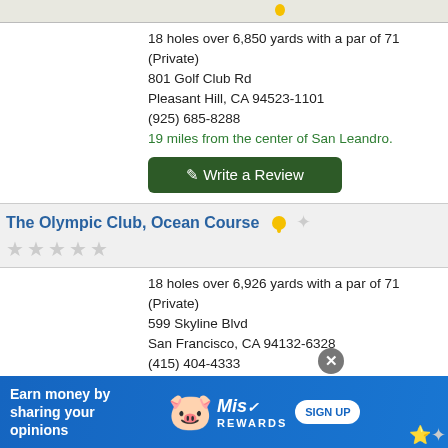[Figure (map): Partial map strip with location pin at top]
18 holes over 6,850 yards with a par of 71 (Private)
801 Golf Club Rd
Pleasant Hill, CA 94523-1101
(925) 685-8288
19 miles from the center of San Leandro.
Write a Review
The Olympic Club, Ocean Course
18 holes over 6,926 yards with a par of 71 (Private)
599 Skyline Blvd
San Francisco, CA 94132-6328
(415) 404-4333
19 miles from the center of San Leandro.
Write a Review
[Figure (infographic): Advertisement banner: Earn money by sharing your opinions - MisRewards sign up]